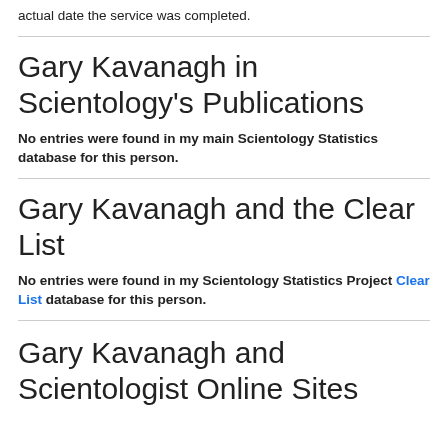actual date the service was completed.
Gary Kavanagh in Scientology's Publications
No entries were found in my main Scientology Statistics database for this person.
Gary Kavanagh and the Clear List
No entries were found in my Scientology Statistics Project Clear List database for this person.
Gary Kavanagh and Scientologist Online Sites